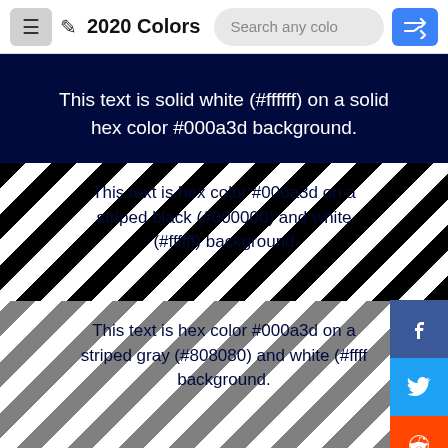2020 Colors — Search any colo
This text is solid white (#ffffff) on a solid hex color #000a3d background.
This text is hex color #000a3d on a striped black (#000000) and white (#ffffff) background
This text is hex color #000a3d on a striped gray (#808080) and white (#ffff background.
[Figure (other): Partially visible bottom strip with dark navy and white diagonal stripes]